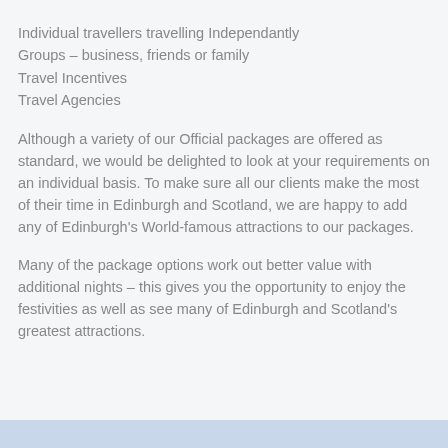Individual travellers travelling Independantly
Groups – business, friends or family
Travel Incentives
Travel Agencies
Although a variety of our Official packages are offered as standard, we would be delighted to look at your requirements on an individual basis. To make sure all our clients make the most of their time in Edinburgh and Scotland, we are happy to add any of Edinburgh's World-famous attractions to our packages.
Many of the package options work out better value with additional nights – this gives you the opportunity to enjoy the festivities as well as see many of Edinburgh and Scotland's greatest attractions.